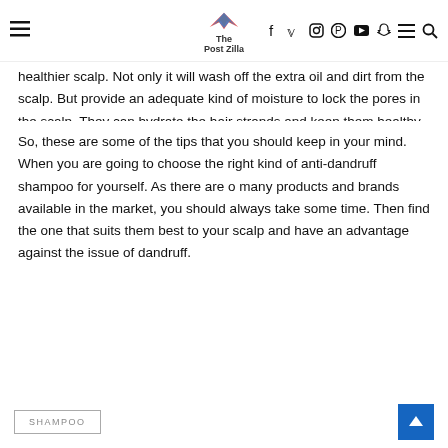The Post Zilla — navigation bar with social icons
healthier scalp. Not only it will wash off the extra oil and dirt from the scalp. But provide an adequate kind of moisture to lock the pores in the scalp. They can hydrate the hair strands and keep them healthy.
So, these are some of the tips that you should keep in your mind. When you are going to choose the right kind of anti-dandruff shampoo for yourself. As there are o many products and brands available in the market, you should always take some time. Then find the one that suits them best to your scalp and have an advantage against the issue of dandruff.
SHAMPOO